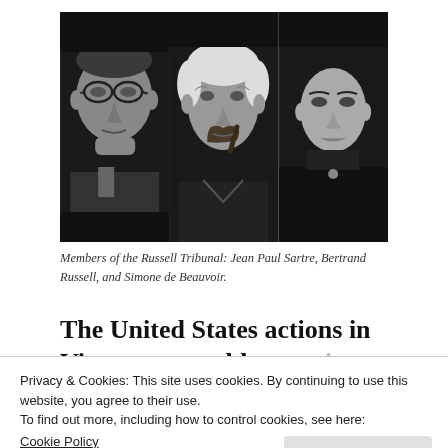[Figure (photo): Black and white triptych photograph showing three members of the Russell Tribunal side by side: Jean Paul Sartre (left, wearing glasses, hand to chin), Bertrand Russell (center, elderly man with white hair holding a pipe), and Simone de Beauvoir (right, dark hair, looking to the side).]
Members of the Russell Tribunal: Jean Paul Sartre, Bertrand Russell, and Simone de Beauvoir.
The United States actions in Vietnam arguably constitute both war crimes and crimes against
Privacy & Cookies: This site uses cookies. By continuing to use this website, you agree to their use.
To find out more, including how to control cookies, see here:
Cookie Policy